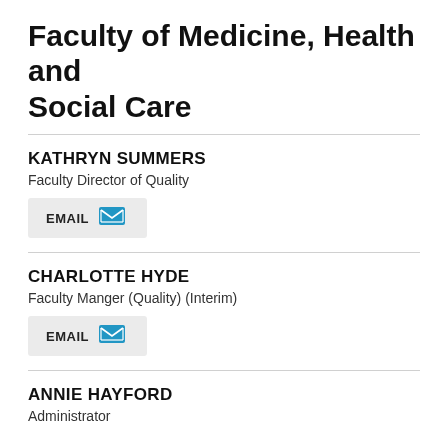Faculty of Medicine, Health and Social Care
KATHRYN SUMMERS
Faculty Director of Quality
EMAIL
CHARLOTTE HYDE
Faculty Manger (Quality) (Interim)
EMAIL
ANNIE HAYFORD
Administrator